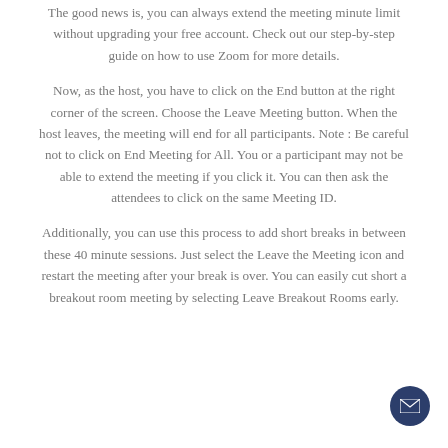The good news is, you can always extend the meeting minute limit without upgrading your free account. Check out our step-by-step guide on how to use Zoom for more details.
Now, as the host, you have to click on the End button at the right corner of the screen. Choose the Leave Meeting button. When the host leaves, the meeting will end for all participants. Note : Be careful not to click on End Meeting for All. You or a participant may not be able to extend the meeting if you click it. You can then ask the attendees to click on the same Meeting ID.
Additionally, you can use this process to add short breaks in between these 40 minute sessions. Just select the Leave the Meeting icon and restart the meeting after your break is over. You can easily cut short a breakout room meeting by selecting Leave Breakout Rooms early.